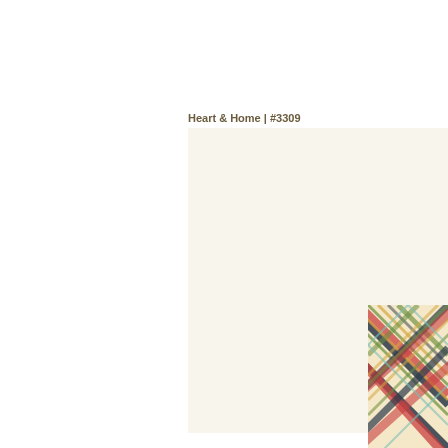Heart & Home | #3309
[Figure (illustration): Fabric swatch showing a repeating colorful hearts pattern on cream/off-white background. Hearts appear in multiple colors: red, green, teal/mint, dark navy, yellow/gold, arranged in staggered rows across the full swatch.]
[Figure (illustration): Fabric swatch corner showing a plaid/tartan pattern with diagonal crossing lines in red, green, navy, yellow and cream colors.]